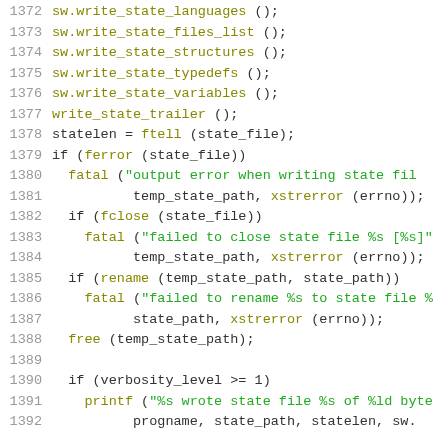Source code listing, lines 1372-1392
1372    sw.write_state_languages ();
1373    sw.write_state_files_list ();
1374    sw.write_state_structures ();
1375    sw.write_state_typedefs ();
1376    sw.write_state_variables ();
1377    write_state_trailer ();
1378    statelen = ftell (state_file);
1379    if (ferror (state_file))
1380      fatal ("output error when writing state fil
1381              temp_state_path, xstrerror (errno));
1382    if (fclose (state_file))
1383      fatal ("failed to close state file %s [%s]"
1384              temp_state_path, xstrerror (errno));
1385    if (rename (temp_state_path, state_path))
1386      fatal ("failed to rename %s to state file %
1387              state_path, xstrerror (errno));
1388    free (temp_state_path);
1389
1390    if (verbosity_level >= 1)
1391      printf ("%s wrote state file %s of %ld byte
1392              progname, state_path, statelen, sw.